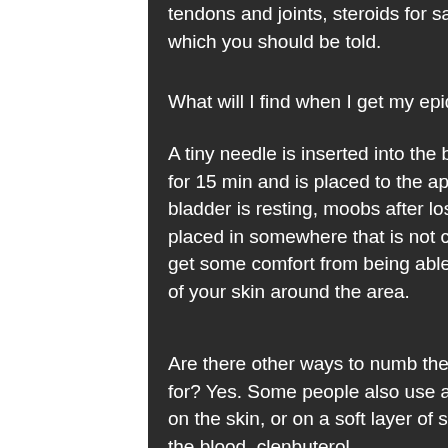tendons and joints, steroids for sale in canada, and other things, which you should be told.
What will I find when I get my epidural?
A tiny needle is inserted into the bladder and is guided upward for 15 min and is placed to the appropriate spot where your bladder is resting, moobs after losing weight. If the needle is placed in somewhere that is not comfortable, you may be able to get some comfort from being able to sit up or take a few pinches of your skin around the area.
Are there other ways to numb the skin, hgh sale real injections for? Yes. Some people also use a light pressure applied directly on the skin, or on a soft layer of skin that is exposed directly to the blood, clenbuterol